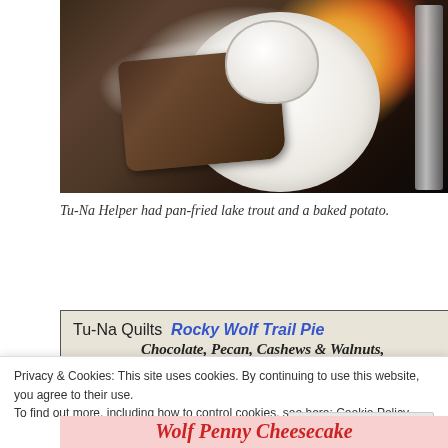[Figure (photo): Overhead photo of a white plate with pan-fried lake trout (a dark, crispy-coated fish fillet), a white ramekin with a baked potato and toppings, colorful peppers, and silverware on a dark table.]
Tu-Na Helper had pan-fried lake trout and a baked potato.
[Figure (photo): Photo of a handwritten/printed menu or sign. Text reads: 'Tu-Na Quilts' in black, 'Rocky Wolf Trail Pie' in blue handwriting, and below 'Chocolate, Pecan, Cashews & Walnuts' in cursive.]
Privacy & Cookies: This site uses cookies. By continuing to use this website, you agree to their use.
To find out more, including how to control cookies, see here: Cookie Policy
[Figure (photo): Partial photo showing red cursive text reading 'Wolf Penny Cheesecake' on a pink/red background.]